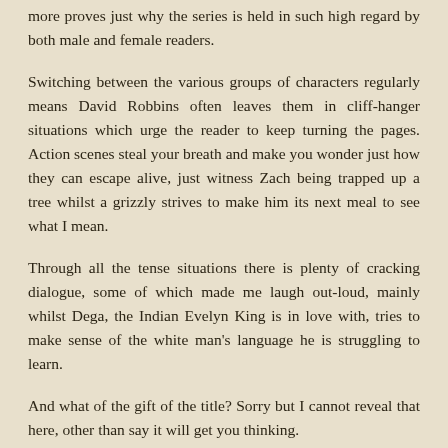more proves just why the series is held in such high regard by both male and female readers.
Switching between the various groups of characters regularly means David Robbins often leaves them in cliff-hanger situations which urge the reader to keep turning the pages. Action scenes steal your breath and make you wonder just how they can escape alive, just witness Zach being trapped up a tree whilst a grizzly strives to make him its next meal to see what I mean.
Through all the tense situations there is plenty of cracking dialogue, some of which made me laugh out-loud, mainly whilst Dega, the Indian Evelyn King is in love with, tries to make sense of the white man's language he is struggling to learn.
And what of the gift of the title? Sorry but I cannot reveal that here, other than say it will get you thinking.
Once again David Robbins doesn't disappoint and strengthens my belief that this is one of the best western